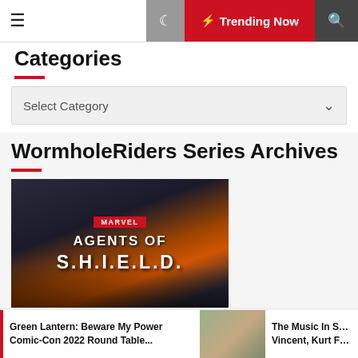≡  ☽  ⚡ Trending Now  🔍
Categories
Select Category
WormholeRiders Series Archives
[Figure (photo): Marvel Agents of S.H.I.E.L.D. promotional poster showing the cast in front of a stylized X background with orange/fire lighting]
Green Lantern: Beware My Power Comic-Con 2022 Round Table...
The Music In S… Vincent, Kurt F…